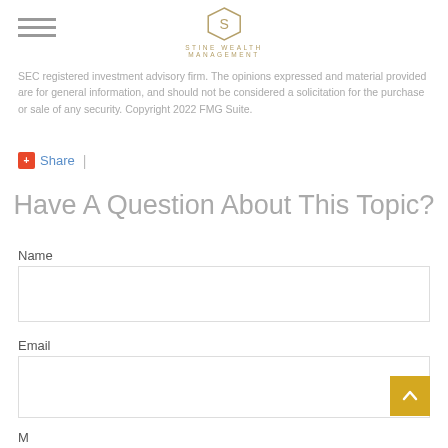Stine Wealth Management
SEC registered investment advisory firm. The opinions expressed and material provided are for general information, and should not be considered a solicitation for the purchase or sale of any security. Copyright 2022 FMG Suite.
Share |
Have A Question About This Topic?
Name
Email
M